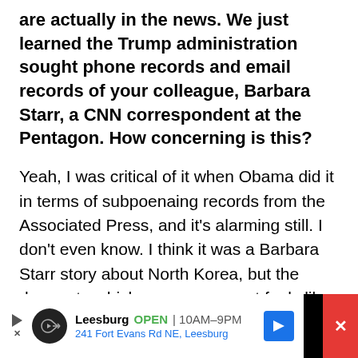are actually in the news. We just learned the Trump administration sought phone records and email records of your colleague, Barbara Starr, a CNN correspondent at the Pentagon. How concerning is this?
Yeah, I was critical of it when Obama did it in terms of subpoenaing records from the Associated Press, and it's alarming still. I don't even know. I think it was a Barbara Starr story about North Korea, but the degree to which our government feels like they can subpoena the records of journalists in order to find out who their sources are is terrifying and chilling. Whether it's
[Figure (other): Advertisement bar at bottom of page: Leesburg OPEN 10AM-9PM, 241 Fort Evans Rd NE, Leesburg, with logo and navigation arrow icon]